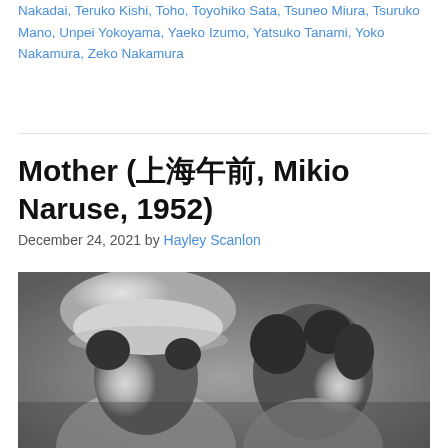Nakadai, Teruko Kishi, Toho, Toyohiko Sata, Tsuneo Miura, Tsuruko Mano, Unpei Yokoyama, Yaeko Izumo, Yatsuko Tanami, Yoko Nakamura, Zeko Nakamura
Mother (叫びたい気持ち, Mikio Naruse, 1952)
December 24, 2021 by Hayley Scanlon
[Figure (photo): Black and white still from the 1952 Japanese film Mother directed by Mikio Naruse, showing two women in traditional Japanese attire. The woman in the foreground wears a white hat and is smiling, and a second woman is visible behind her to the right, also smiling.]